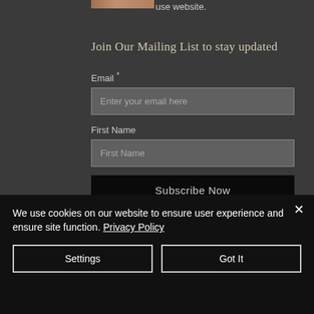use website.
Join Our Mailing List to stay updated
Email *
Enter your email here
First Name
First Name
Subscribe Now
Do Not Sell My Personal Information
We use cookies on our website to ensure user experience and ensure site function. Privacy Policy
Settings
Got It